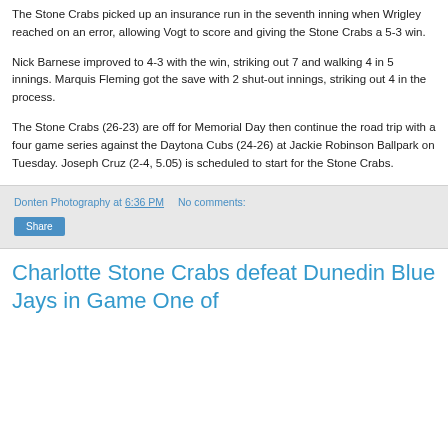The Stone Crabs picked up an insurance run in the seventh inning when Wrigley reached on an error, allowing Vogt to score and giving the Stone Crabs a 5-3 win.
Nick Barnese improved to 4-3 with the win, striking out 7 and walking 4 in 5 innings. Marquis Fleming got the save with 2 shut-out innings, striking out 4 in the process.
The Stone Crabs (26-23) are off for Memorial Day then continue the road trip with a four game series against the Daytona Cubs (24-26) at Jackie Robinson Ballpark on Tuesday. Joseph Cruz (2-4, 5.05) is scheduled to start for the Stone Crabs.
Donten Photography at 6:36 PM   No comments:
Share
Charlotte Stone Crabs defeat Dunedin Blue Jays in Game One of